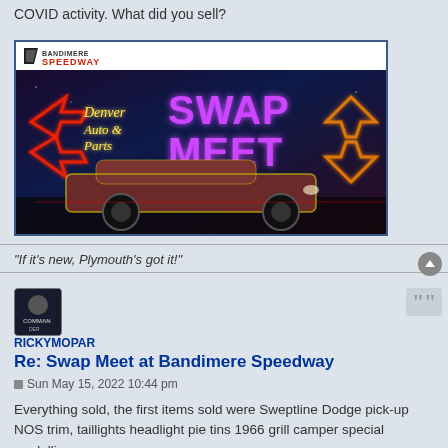COVID activity. What did you sell?
[Figure (photo): Bandimere Speedway advertisement for the Denver Auto & Parts Swap Meet, featuring neon text and a classic muscle car on a dark background.]
"If it's new, Plymouth's got it!"
RICKYMOPAR
Re: Swap Meet at Bandimere Speedway
Sun May 15, 2022 10:44 pm
Everything sold, the first items sold were Sweptline Dodge pick-up NOS trim, taillights headlight pie tins 1966 grill camper special medallions.